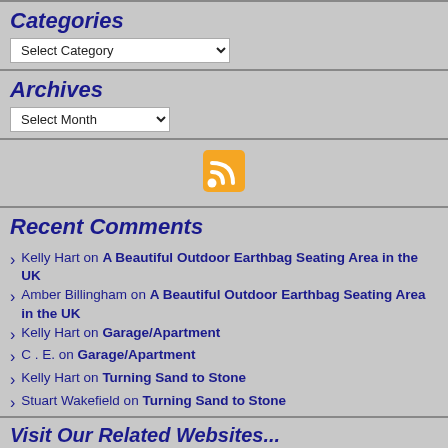Categories
Select Category (dropdown)
Archives
Select Month (dropdown)
[Figure (other): RSS feed icon - orange/yellow square with white RSS signal symbol]
Recent Comments
Kelly Hart on A Beautiful Outdoor Earthbag Seating Area in the UK
Amber Billingham on A Beautiful Outdoor Earthbag Seating Area in the UK
Kelly Hart on Garage/Apartment
C . E. on Garage/Apartment
Kelly Hart on Turning Sand to Stone
Stuart Wakefield on Turning Sand to Stone
Visit Our Related Websites...
Earthbagbuilding.com